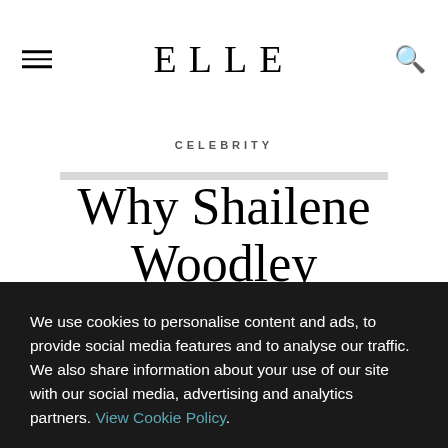ELLE
CELEBRITY
Why Shailene Woodley doesn't want to be the
We use cookies to personalise content and ads, to provide social media features and to analyse our traffic. We also share information about your use of our site with our social media, advertising and analytics partners. View Cookie Policy.
ACCEPT COOKIES